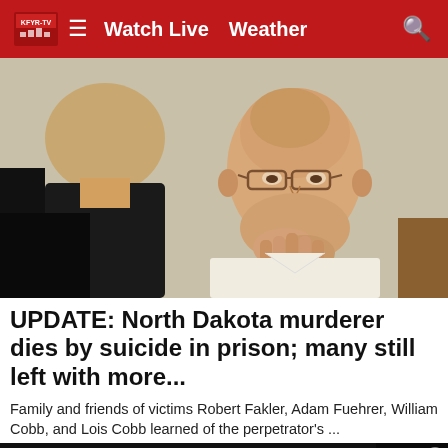Watch Live  Weather
[Figure (photo): A bald man with glasses wearing a white shirt, seated in what appears to be a courtroom, resting his chin on his clasped hands. Another person with blond hair is seen from behind in the foreground left.]
UPDATE: North Dakota murderer dies by suicide in prison; many still left with more...
Family and friends of victims Robert Fakler, Adam Fuehrer, William Cobb, and Lois Cobb learned of the perpetrator's ...
NOW HIRING: WEB PRODUCER
Produce and publish online content to our websites, apps, and social media pages.
KFYR